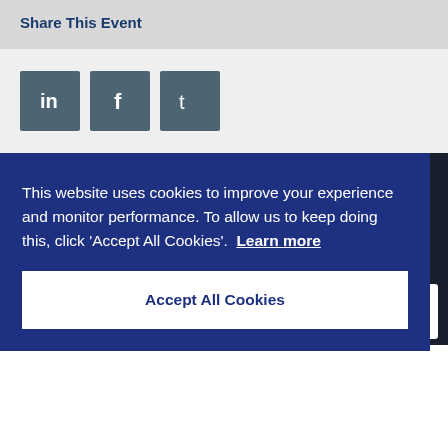Share This Event
[Figure (infographic): Three social media share buttons: LinkedIn (in), Facebook (f), and Twitter (t), styled as dark teal square icons with white logos.]
ADS is the Premier Trade Organisation for companies in the UK
This website uses cookies to improve your experience and monitor performance. To allow us to keep doing this, click 'Accept All Cookies'.  Learn more
Accept All Cookies